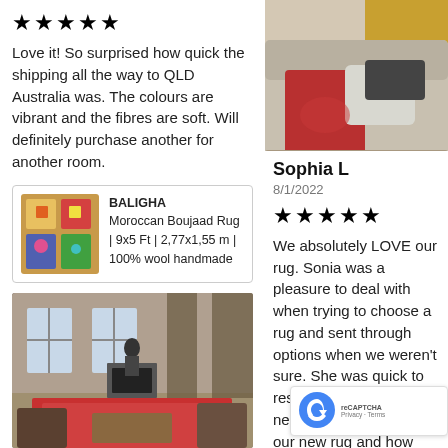[Figure (other): Five black star rating icons]
Love it! So surprised how quick the shipping all the way to QLD Australia was. The colours are vibrant and the fibres are soft. Will definitely purchase another for another room.
[Figure (other): Product thumbnail: BALIGHA Moroccan Boujaad Rug colorful photo]
BALIGHA Moroccan Boujaad Rug | 9x5 Ft | 2,77x1,55 m | 100% wool handmade
[Figure (photo): Living room interior with a colorful rug on the floor, fireplace and furniture visible]
[Figure (photo): Couch with red and white pillows and clothing items on a beige sofa, yellow rug visible in background]
Sophia L
8/1/2022
[Figure (other): Five black star rating icons]
We absolutely LOVE our rug. Sonia was a pleasure to deal with when trying to choose a rug and sent through options when we weren't sure. She was quick to respond and met all our needs. So obsessed with our new rug and how fluffy it is. Thanks so much!